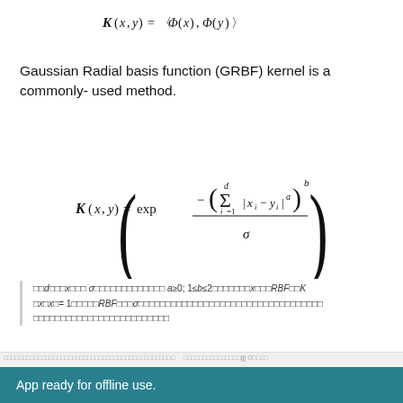Gaussian Radial basis function (GRBF) kernel is a commonly- used method.
d and x and σ are parameters. a≥0; 1≤b≤2 and x in RBF, K(x,x)= 1. RBF and σ parameters are the kernel width parameters.
App ready for offline use.